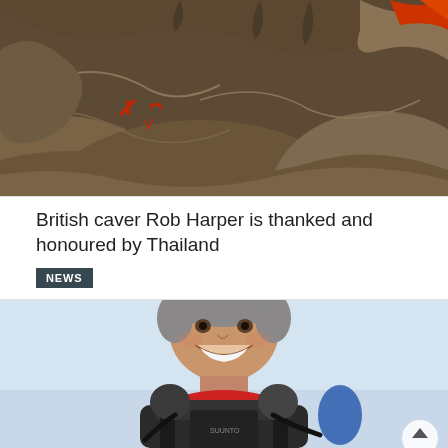[Figure (photo): Cave interior showing rocky walls and formations with red markings, partial view from inside a cave system]
British caver Rob Harper is thanked and honoured by Thailand
NEWS
[Figure (photo): Portrait photo of Rob Harper smiling, wearing black scuba diving equipment with red collar, outdoors with light blue sky background]